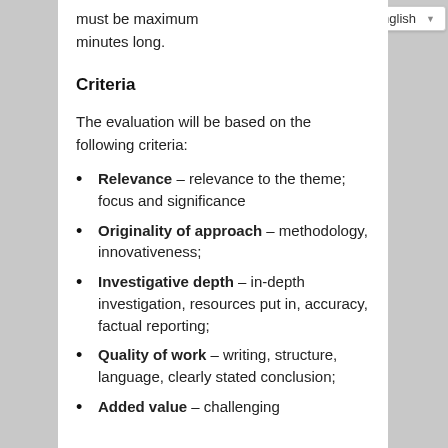must be maximum … minutes long.
Criteria
The evaluation will be based on the following criteria:
Relevance – relevance to the theme; focus and significance
Originality of approach – methodology, innovativeness;
Investigative depth – in-depth investigation, resources put in, accuracy, factual reporting;
Quality of work – writing, structure, language, clearly stated conclusion;
Added value – challenging…